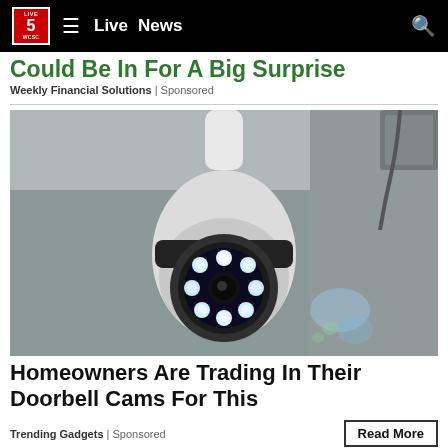LIVE 5 WCSC — Live  News
Could Be In For A Big Surprise
Weekly Financial Solutions | Sponsored
[Figure (photo): A white PTZ security camera mounted on a ceiling/wall in a dark room, showing glowing blue LED ring lights on the front lens.]
Homeowners Are Trading In Their Doorbell Cams For This
Trending Gadgets | Sponsored
Read More